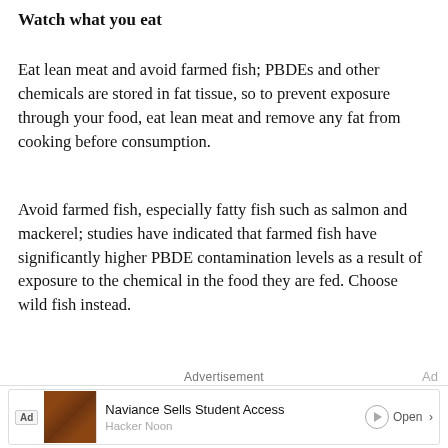Watch what you eat
Eat lean meat and avoid farmed fish; PBDEs and other chemicals are stored in fat tissue, so to prevent exposure through your food, eat lean meat and remove any fat from cooking before consumption.
Avoid farmed fish, especially fatty fish such as salmon and mackerel; studies have indicated that farmed fish have significantly higher PBDE contamination levels as a result of exposure to the chemical in the food they are fed. Choose wild fish instead.
Advertisement
[Figure (other): Advertisement banner: Ad tag, thumbnail image, text 'Naviance Sells Student Access' from Hacker Noon with Open button]